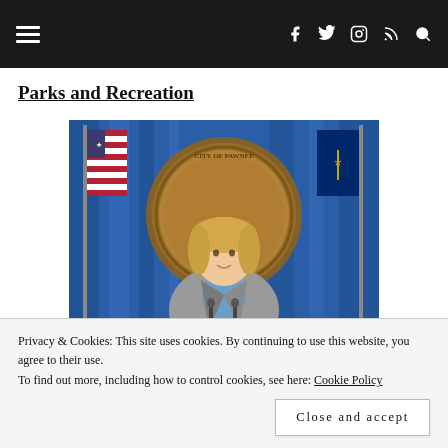Navigation bar with hamburger menu and social icons (Facebook, Twitter, Instagram, RSS, Search)
Parks and Recreation
[Figure (photo): A blonde woman in a grey blazer and blue shirt stands in front of an official city seal reading 'City of Pawnee Indiana', flanked by an American flag on the left and a blue Indiana state flag on the right, against a blue curtain background.]
Privacy & Cookies: This site uses cookies. By continuing to use this website, you agree to their use.
To find out more, including how to control cookies, see here: Cookie Policy
Close and accept